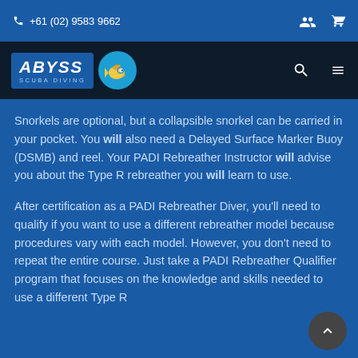+61 (02) 9583 9662
[Figure (logo): Abyss Scuba Diving logo with fish mascot on dark navy navigation bar]
Snorkels are optional, but a collapsible snorkel can be carried in your pocket. You will also need a Delayed Surface Marker Buoy (DSMB) and reel. Your PADI Rebreather Instructor will advise you about the Type R rebreather you will learn to use.
After certification as a PADI Rebreather Diver, you'll need to qualify if you want to use a different rebreather model because procedures vary with each model. However, you don't need to repeat the entire course. Just take a PADI Rebreather Qualifier program that focuses on the knowledge and skills needed to use a different Type R